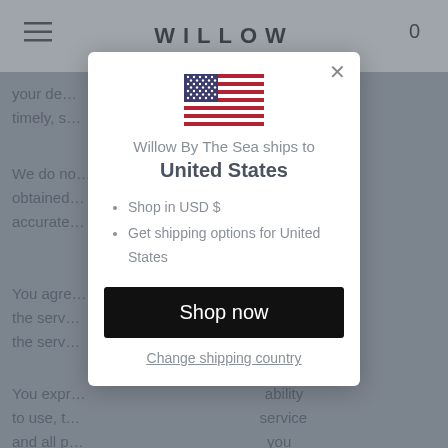WILLOW
your de... timely, s...
We do no... may be obtained... e accurate...
You agre... remove the serv... r cancel the serv... ou.
You expr... ability to use, t... service and all p... you through the service are (except as expressly...
[Figure (screenshot): Modal dialog showing US flag, text 'Willow By The Sea ships to United States', bullet list with 'Shop in USD $' and 'Get shipping options for United States', a black 'Shop now' button, and a 'Change shipping country' link.]
Willow By The Sea ships to
United States
Shop in USD $
Get shipping options for United States
Shop now
Change shipping country